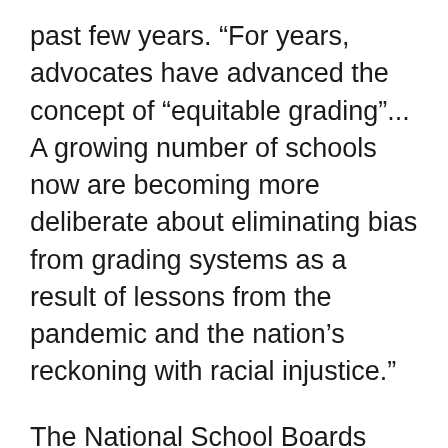past few years. “For years, advocates have advanced the concept of “equitable grading”... A growing number of schools now are becoming more deliberate about eliminating bias from grading systems as a result of lessons from the pandemic and the nation’s reckoning with racial injustice.”
The National School Boards Association (NSBA) has published a guide to equitable grading by Joe Feldman encouraging the practice by explaining that “across most schools, grades do not provide fair, objective, and accurate reflections of student academic performance” because traditional